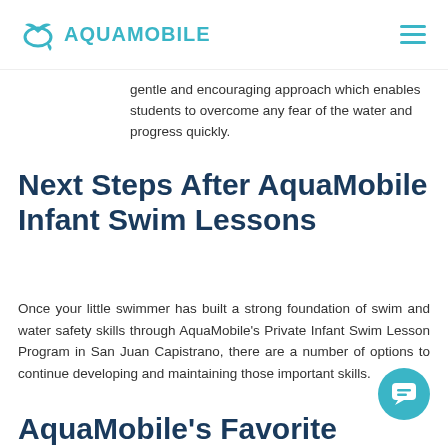AQUAMOBILE
gentle and encouraging approach which enables students to overcome any fear of the water and progress quickly.
Next Steps After AquaMobile Infant Swim Lessons
Once your little swimmer has built a strong foundation of swim and water safety skills through AquaMobile's Private Infant Swim Lesson Program in San Juan Capistrano, there are a number of options to continue developing and maintaining those important skills.
AquaMobile's Favorite